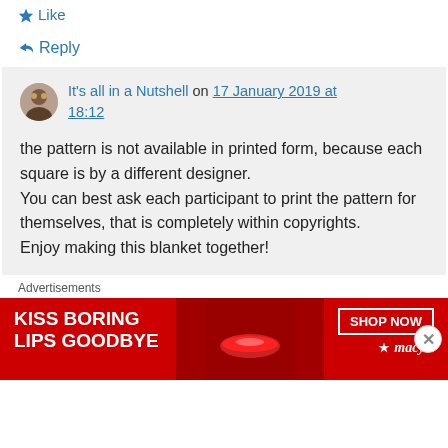Like
Reply
It's all in a Nutshell on 17 January 2019 at 18:12
the pattern is not available in printed form, because each square is by a different designer.
You can best ask each participant to print the pattern for themselves, that is completely within copyrights.
Enjoy making this blanket together!
Advertisements
[Figure (photo): Advertisement banner for Macy's with text 'KISS BORING LIPS GOODBYE' and 'SHOP NOW' button with star logo]